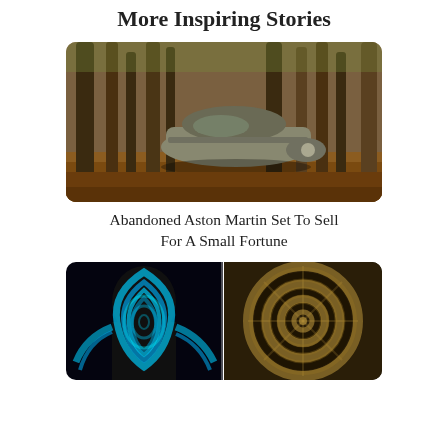More Inspiring Stories
[Figure (photo): Abandoned classic car (Aston Martin) in a forest, surrounded by tall trees and fallen leaves. The car appears rusted and overgrown.]
Abandoned Aston Martin Set To Sell For A Small Fortune
[Figure (photo): Two side-by-side artistic body paint photographs. Left: a person with blue and black swirling spiral pattern painted on their back. Right: a person with golden and black swirling spiral pattern projected on their back.]